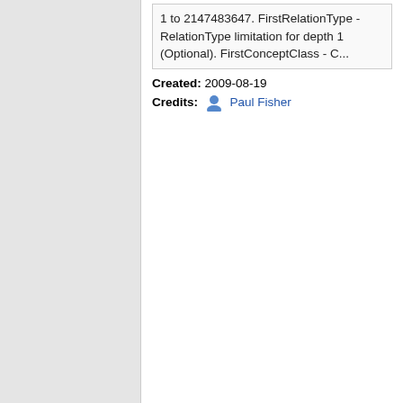1 to 2147483647. FirstRelationType - RelationType limitation for depth 1 (Optional). FirstConceptClass - C...
Created: 2009-08-19
Credits: Paul Fisher
Taverna 1
Uploader
[Figure (photo): Black and white photo of uploader Paul Fisher]
Paul Fisher
Rank Phenotype Terms (1)
[Figure (screenshot): Workflow diagram for Rank Phenotype Terms showing a central vertical line with colored branches extending left and right, representing workflow steps]
This workflow counts the number of articles in the pubmed database in which each term occurs, and identifies